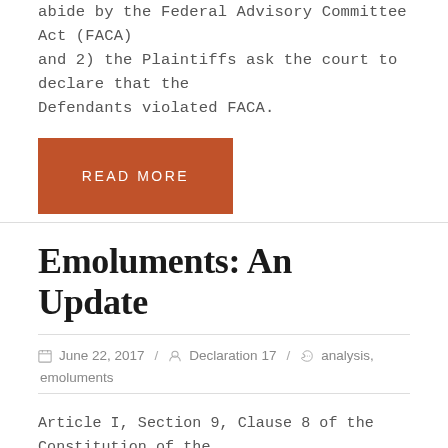abide by the Federal Advisory Committee Act (FACA) and 2) the Plaintiffs ask the court to declare that the Defendants violated FACA.
READ MORE
Emoluments: An Update
June 22, 2017 / Declaration 17 / analysis, emoluments
Article I, Section 9, Clause 8 of the Constitution of the United States, now commonly referred to as the “Foreign Emoluments Clause,” is the subject of three federal lawsuits which challenge President Trump’s alleged receipt of financial benefits from foreign